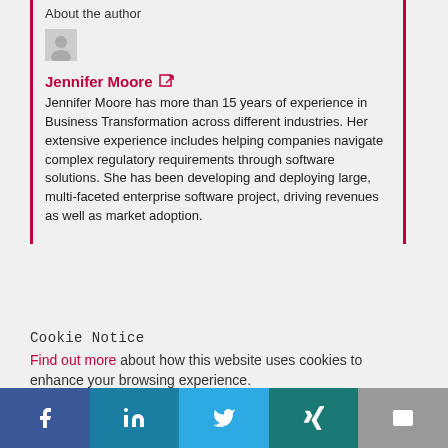About the author
Jennifer Moore
Jennifer Moore has more than 15 years of experience in Business Transformation across different industries. Her extensive experience includes helping companies navigate complex regulatory requirements through software solutions. She has been developing and deploying large, multi-faceted enterprise software project, driving revenues as well as market adoption.
Cookie Notice
Find out more about how this website uses cookies to enhance your browsing experience.
[Figure (infographic): Social media share bar with Facebook, LinkedIn, Twitter, Xing, and Email buttons]